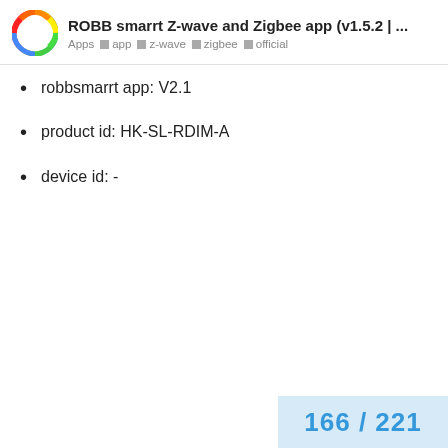ROBB smarrt Z-wave and Zigbee app (v1.5.2 | ... Apps app z-wave zigbee official
robbsmarrt app: V2.1
product id: HK-SL-RDIM-A
device id: -
166 / 221